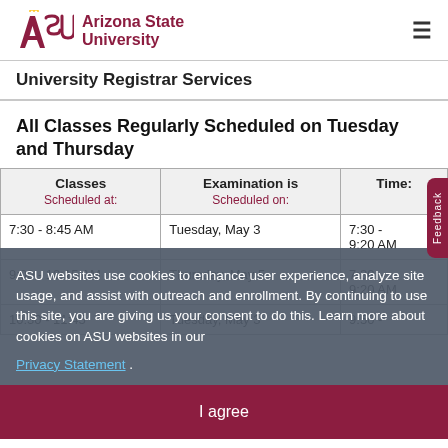ASU Arizona State University
University Registrar Services
All Classes Regularly Scheduled on Tuesday and Thursday
| Classes Scheduled at: | Examination is Scheduled on: | Time: |
| --- | --- | --- |
| 7:30 - 8:45 AM | Tuesday, May 3 | 7:30 - 9:20 AM |
| 9:00 - 10:15 AM | Thursday, May 5 | 7:30 - 9:20 AM |
| 10:30 - 11:45 | Tuesday, May 3 | 9:50 - |
ASU websites use cookies to enhance user experience, analyze site usage, and assist with outreach and enrollment. By continuing to use this site, you are giving us your consent to do this. Learn more about cookies on ASU websites in our Privacy Statement .
I agree